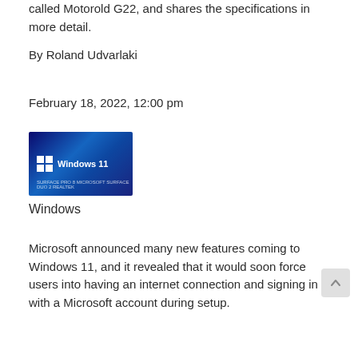called Motorold G22, and shares the specifications in more detail.
By Roland Udvarlaki
February 18, 2022, 12:00 pm
[Figure (screenshot): Windows 11 branded thumbnail image with blue glowing background and Windows logo]
Windows
Microsoft announced many new features coming to Windows 11, and it revealed that it would soon force users into having an internet connection and signing in with a Microsoft account during setup.